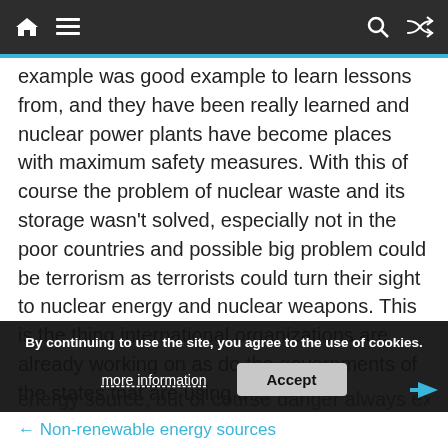Navigation bar with home, menu, search, and shuffle icons
example was good example to learn lessons from, and they have been really learned and nuclear power plants have become places with maximum safety measures. With this of course the problem of nuclear waste and its storage wasn't solved, especially not in the poor countries and possible big problem could be terrorism as terrorists could turn their sight to nuclear energy and nuclear weapons. This is the thing international organizations are already working on as do the governments of the states that are using this energy source, but of course danger always exist
By continuing to use the site, you agree to the use of cookies.
more information   Accept
← Non-renewable energy sources